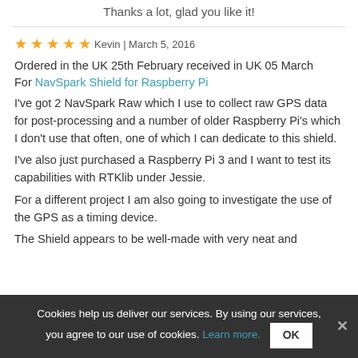Thanks a lot, glad you like it!
Kevin | March 5, 2016 — 5 stars
Ordered in the UK 25th February received in UK 05 March
For NavSpark Shield for Raspberry Pi
I've got 2 NavSpark Raw which I use to collect raw GPS data for post-processing and a number of older Raspberry Pi's which I don't use that often, one of which I can dedicate to this shield.
I've also just purchased a Raspberry Pi 3 and I want to test its capabilities with RTKlib under Jessie.
For a different project I am also going to investigate the use of the GPS as a timing device.
The Shield appears to be well-made with very neat and
Cookies help us deliver our services. By using our services, you agree to our use of cookies. Learn more. OK